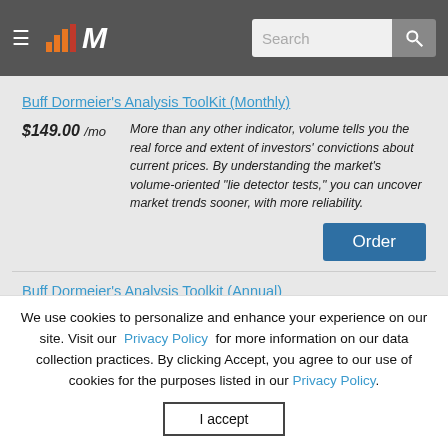[Figure (screenshot): Navigation bar with hamburger menu, MarketSmith logo (bar chart icon + M), search box and search button]
Buff Dormeier's Analysis ToolKit (Monthly)
$149.00 /mo   More than any other indicator, volume tells you the real force and extent of investors' convictions about current prices. By understanding the market's volume-oriented "lie detector tests," you can uncover market trends sooner, with more reliability.
Buff Dormeier's Analysis Toolkit (Annual)
We use cookies to personalize and enhance your experience on our site. Visit our Privacy Policy for more information on our data collection practices. By clicking Accept, you agree to our use of cookies for the purposes listed in our Privacy Policy.